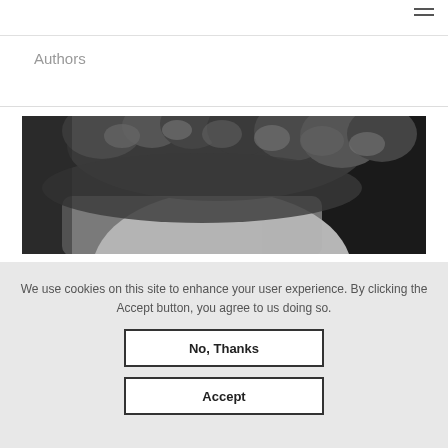≡
Authors
[Figure (photo): Black and white cropped portrait photo showing the top of a person's head with curly/wavy hair against a dark background]
We use cookies on this site to enhance your user experience. By clicking the Accept button, you agree to us doing so.
No, Thanks
Accept